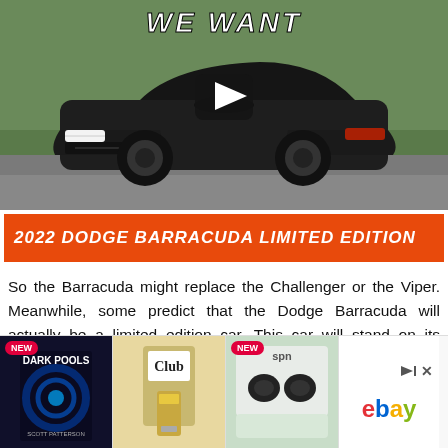[Figure (photo): Video thumbnail showing a dark grey Dodge Barracuda sports car driving on a road, with a play button overlay and 'WE WANT' text at the top]
2022 DODGE BARRACUDA LIMITED EDITION
So the Barracuda might replace the Challenger or the Viper. Meanwhile, some predict that the Dodge Barracuda will actually be a limited edition car. This car will stand on its own, have a higher cost, and perhaps will increase if there is a fixed number of units.
[Figure (infographic): Advertisement strip showing three product thumbnails (Dark Pools book, a USB device, wireless earbuds) with NEW badges, and an eBay logo with play/close buttons]